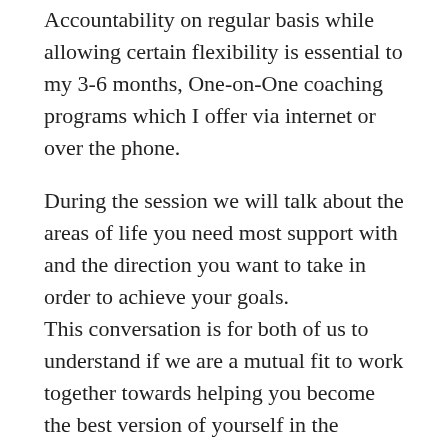Accountability on regular basis while allowing certain flexibility is essential to my 3-6 months, One-on-One coaching programs which I offer via internet or over the phone.
During the session we will talk about the areas of life you need most support with and the direction you want to take in order to achieve your goals.
This conversation is for both of us to understand if we are a mutual fit to work together towards helping you become the best version of yourself in the present.
When you know you are ready to move from where you are and want to reach faster where you want to be, please send me a message or